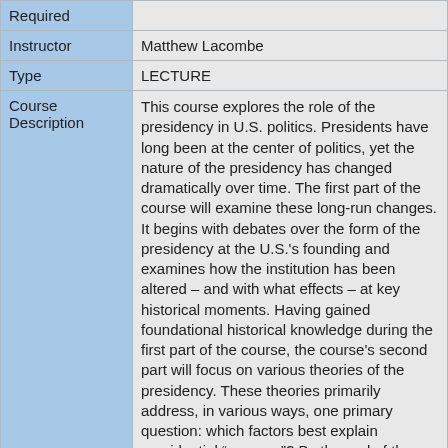| Field | Value |
| --- | --- |
| Required |  |
| Instructor | Matthew Lacombe |
| Type | LECTURE |
| Course Description | This course explores the role of the presidency in U.S. politics. Presidents have long been at the center of politics, yet the nature of the presidency has changed dramatically over time. The first part of the course will examine these long-run changes. It begins with debates over the form of the presidency at the U.S.'s founding and examines how the institution has been altered – and with what effects – at key historical moments. Having gained foundational historical knowledge during the first part of the course, the course's second part will focus on various theories of the presidency. These theories primarily address, in various ways, one primary question: which factors best explain presidential “success”? By the end of the course, students should be able to systematically assess contemporary presidential politics using various scholarly theories and by putting the president’s actions into a broader historical context. The course, occurring during the 2020 presidential primaries, will also include “sidebars” in which we will |